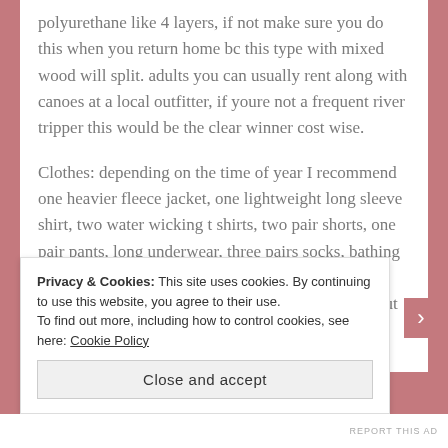polyurethane like 4 layers, if not make sure you do this when you return home bc this type with mixed wood will split. adults you can usually rent along with canoes at a local outfitter, if youre not a frequent river tripper this would be the clear winner cost wise.
Clothes: depending on the time of year I recommend one heavier fleece jacket, one lightweight long sleeve shirt, two water wicking t shirts, two pair shorts, one pair pants, long underwear, three pairs socks, bathing suit, gloves and hat. per person. Use your best judgement considering time of year and location. but also that
Privacy & Cookies: This site uses cookies. By continuing to use this website, you agree to their use.
To find out more, including how to control cookies, see here: Cookie Policy
Close and accept